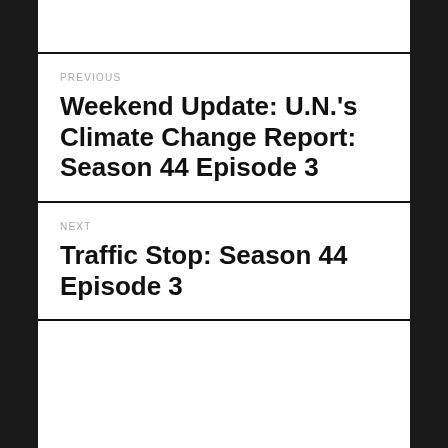PREVIOUS
Weekend Update: U.N.'s Climate Change Report: Season 44 Episode 3
NEXT
Traffic Stop: Season 44 Episode 3